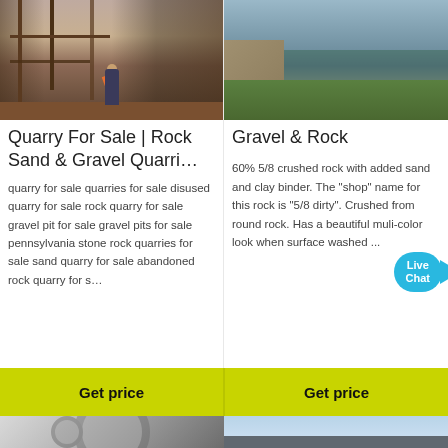[Figure (photo): Construction or quarry site with a person standing in foreground wearing an orange safety vest, surrounded by wooden scaffolding/structures]
[Figure (photo): Gravel pit or excavation site with water, grass, and rocky terrain visible]
Quarry For Sale | Rock Sand & Gravel Quarri…
Gravel & Rock
quarry for sale quarries for sale disused quarry for sale rock quarry for sale gravel pit for sale gravel pits for sale pennsylvania stone rock quarries for sale sand quarry for sale abandoned rock quarry for s…
60% 5/8 crushed rock with added sand and clay binder. The "shop" name for this rock is "5/8 dirty". Crushed from round rock. Has a beautiful muli-color look when surface washed ...
[Figure (infographic): Live Chat button/widget with teal speech bubble design and close X button]
Get price
Get price
[Figure (photo): Industrial mill or machinery with large circular stone grinding wheels visible in dark environment]
[Figure (photo): Industrial structure or crane against a cloudy blue sky]